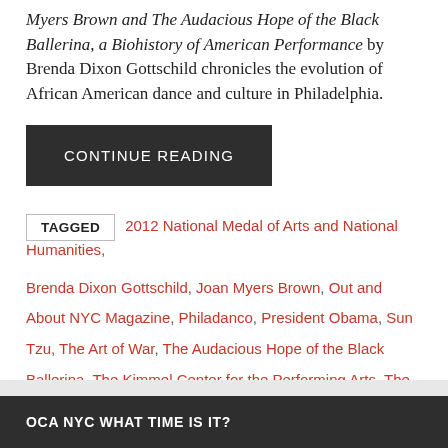Myers Brown and The Audacious Hope of the Black Ballerina, a Biohistory of American Performance by Brenda Dixon Gottschild chronicles the evolution of African American dance and culture in Philadelphia.
CONTINUE READING
TAGGED  2012 National Medal of Arts and National Humanities, Brenda Dixon Gottschild, Joan Myers Brown, Out and About NYC Magazine, Philadanco, President Obama, Sun Tzu, The Art of War, The Audacious Hope of the Black Ballerina, The Kimmel Center for the Performing Arts, The Philadelphia Dance Company, Walter Rutledge
OCA NYC WHAT TIME IS IT?